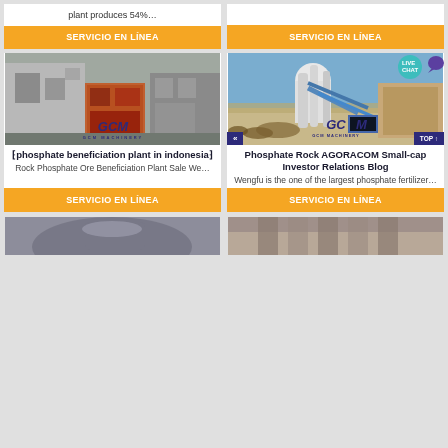plant produces 54%…
SERVICIO EN LÍNEA
SERVICIO EN LÍNEA
[Figure (photo): Industrial machinery inside a factory, GCM Machinery branded]
[Figure (photo): Outdoor industrial milling/grinding equipment, GCM Machinery branded]
⁅phosphate beneficiation plant in indonesia⁆
Phosphate Rock AGORACOM Small-cap Investor Relations Blog
Rock Phosphate Ore Beneficiation Plant Sale We…
Wengfu is the one of the largest phosphate fertilizer…
SERVICIO EN LÍNEA
SERVICIO EN LÍNEA
[Figure (photo): Partial view of an industrial facility, bottom left]
[Figure (photo): Partial view of an industrial facility, bottom right]